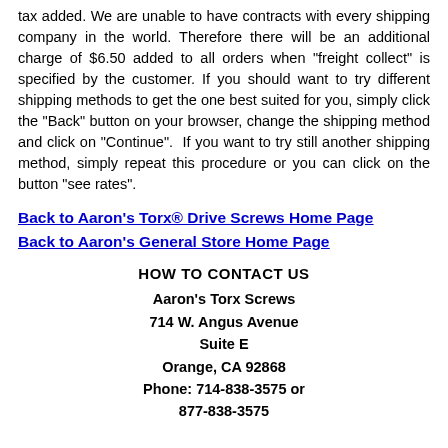tax added. We are unable to have contracts with every shipping company in the world. Therefore there will be an additional charge of $6.50 added to all orders when "freight collect" is specified by the customer. If you should want to try different shipping methods to get the one best suited for you, simply click the "Back" button on your browser, change the shipping method and click on "Continue". If you want to try still another shipping method, simply repeat this procedure or you can click on the button "see rates".
Back to Aaron's Torx® Drive Screws Home Page
Back to Aaron's General Store Home Page
HOW TO CONTACT US
Aaron's Torx Screws
714 W. Angus Avenue
Suite E
Orange, CA 92868
Phone: 714-838-3575 or
877-838-3575